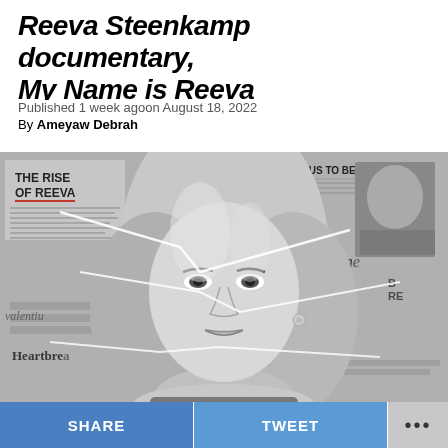Reeva Steenkamp documentary, My Name is Reeva
Published 1 week agoon August 18, 2022
By Ameyaw Debrah
[Figure (photo): Black and white promotional image for the Reeva Steenkamp documentary 'My Name is Reeva'. Shows a composite image of a blonde woman's face overlaid on newspaper clippings with headlines including 'THE RISE OF REEVA', 'OSCAR PISTORIUS TO BE RELEASED', 'Deadly Valentine', 'Heartbreaker'. Cracks run through the image. Background newspaper articles visible.]
SHARE
TWEET
•••